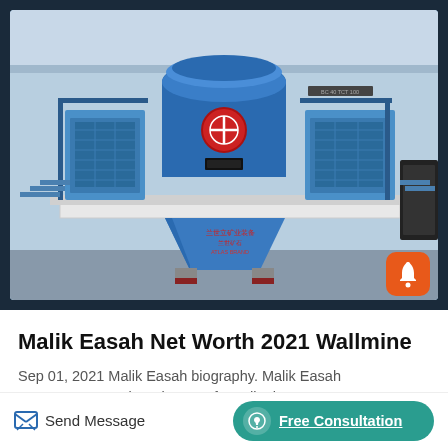[Figure (photo): Industrial blue heavy-duty vertical shaft impact machine / crusher on a factory floor, with blue structural components, metal grating, and a hopper at the bottom with Chinese text. Orange notification bell button overlay at bottom right.]
Malik Easah Net Worth 2021 Wallmine
Sep 01, 2021 Malik Easah biography. Malik Easah serves as Executive Director of Cardinal Resources
Send Message
Free Consultation